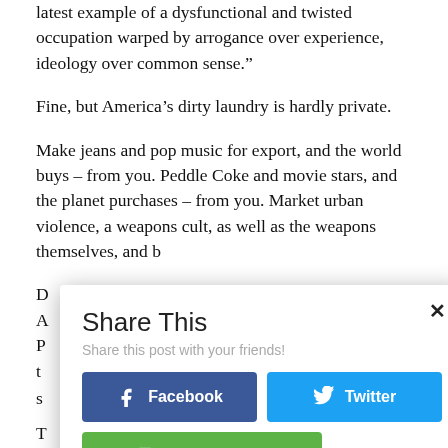latest example of a dysfunctional and twisted occupation warped by arrogance over experience, ideology over common sense.”
Fine, but America’s dirty laundry is hardly private.
Make jeans and pop music for export, and the world buys – from you. Peddle Coke and movie stars, and the planet purchases – from you. Market urban violence, a weapons cult, as well as the weapons themselves, and b[cut off]
[Figure (screenshot): Share This modal dialog with Facebook, Twitter, and Print Friendly buttons. Subtitle: Share this post with your friends!]
[partial lines of article text visible behind modal]